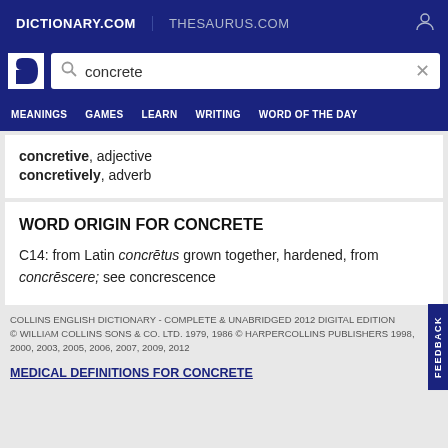DICTIONARY.COM   THESAURUS.COM
concrete (search query)
MEANINGS   GAMES   LEARN   WRITING   WORD OF THE DAY
concretive, adjective
concretively, adverb
WORD ORIGIN FOR CONCRETE
C14: from Latin concrētus grown together, hardened, from concrēscere; see concrescence
COLLINS ENGLISH DICTIONARY - COMPLETE & UNABRIDGED 2012 DIGITAL EDITION
© WILLIAM COLLINS SONS & CO. LTD. 1979, 1986 © HARPERCOLLINS PUBLISHERS 1998, 2000, 2003, 2005, 2006, 2007, 2009, 2012
MEDICAL DEFINITIONS FOR CONCRETE